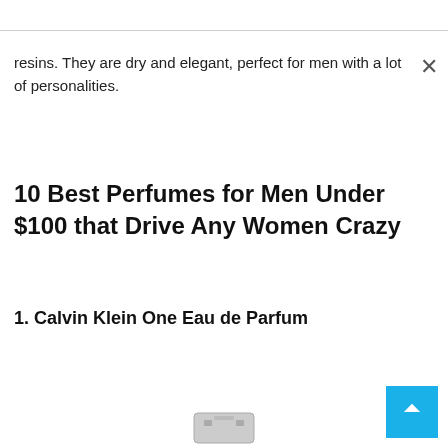resins. They are dry and elegant, perfect for men with a lot of personalities.
10 Best Perfumes for Men Under $100 that Drive Any Women Crazy
1. Calvin Klein One Eau de Parfum
[Figure (photo): Partial view of a perfume bottle at the bottom of the page]